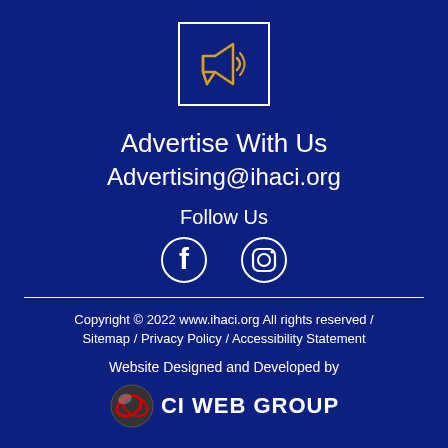[Figure (illustration): Megaphone icon in a white-bordered box on dark blue background]
Advertise With Us
Advertising@ihaci.org
Follow Us
[Figure (illustration): Facebook and Instagram social media icons in white]
Copyright © 2022 www.ihaci.org All rights reserved / Sitemap / Privacy Policy / Accessibility Statement
Website Designed and Developed by
[Figure (logo): CI Web Group logo with red and silver globe and white text CI WEB GROUP]